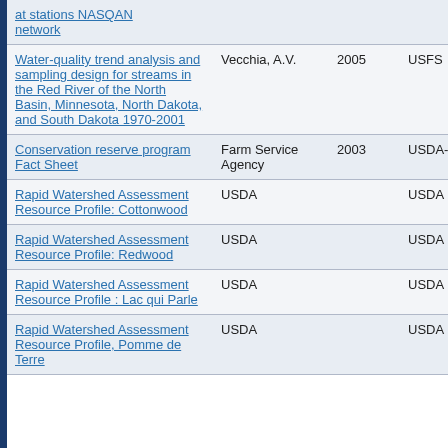| Title | Author | Year | Source |
| --- | --- | --- | --- |
| at stations NASQAN network |  |  |  |
| Water-quality trend analysis and sampling design for streams in the Red River of the North Basin, Minnesota, North Dakota, and South Dakota 1970-2001 | Vecchia, A.V. | 2005 | USFS |
| Conservation reserve program Fact Sheet | Farm Service Agency | 2003 | USDA-FSA |
| Rapid Watershed Assessment Resource Profile: Cottonwood | USDA |  | USDA |
| Rapid Watershed Assessment Resource Profile: Redwood | USDA |  | USDA |
| Rapid Watershed Assessment Resource Profile : Lac qui Parle | USDA |  | USDA |
| Rapid Watershed Assessment Resource Profile, Pomme de Terre | USDA |  | USDA |